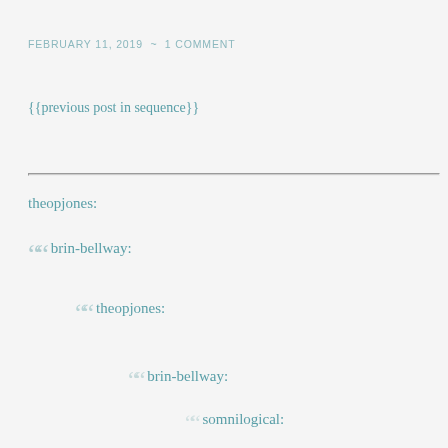FEBRUARY 11, 2019  ~  1 COMMENT
{{previous post in sequence}}
theopjones:
brin-bellway:
theopjones:
brin-bellway:
somnilogical: